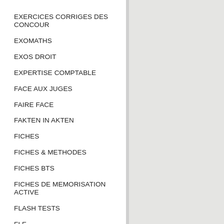EXERCICES CORRIGES DES CONCOUR
EXOMATHS
EXOS DROIT
EXPERTISE COMPTABLE
FACE AUX JUGES
FAIRE FACE
FAKTEN IN AKTEN
FICHES
FICHES & METHODES
FICHES BTS
FICHES DE MEMORISATION ACTIVE
FLASH TESTS
FLE
FLE EN PISTE!
FOCUS SUR